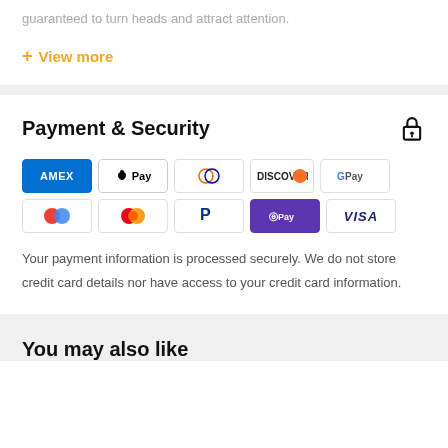guaranteed to turn heads and attract attention.
+ View more
Payment & Security
[Figure (logo): Payment method logos: American Express, Apple Pay, Diners Club, Discover, Google Pay, Shop Pay (red/blue circles), Mastercard, PayPal, Shop Pay (purple), Visa]
Your payment information is processed securely. We do not store credit card details nor have access to your credit card information.
You may also like